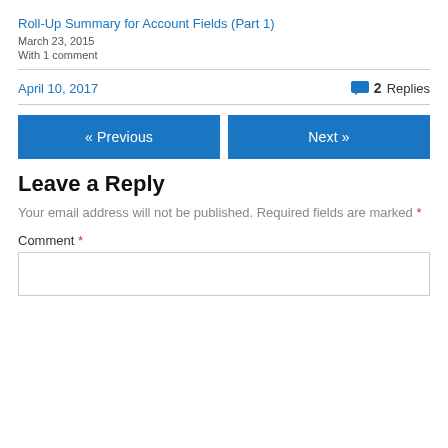Roll-Up Summary for Account Fields (Part 1)
March 23, 2015
With 1 comment
April 10, 2017
2 Replies
« Previous
Next »
Leave a Reply
Your email address will not be published. Required fields are marked *
Comment *